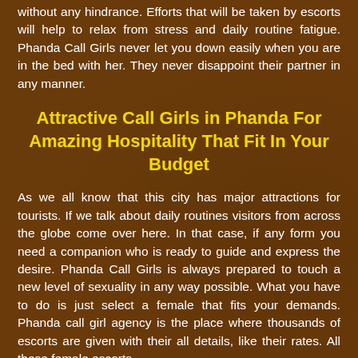without any hindrance. Efforts that will be taken by escorts will help to relax from stress and daily routine fatigue. Phanda Call Girls never let you down easily when you are in the bed with her. They never disappoint their partner in any manner.
Attractive Call Girls in Phanda For Amazing Hospitality That Fit In Your Budget
As we all know that this city has major attractions for tourists. If we talk about daily routines visitors from across the globe come over here. In that case, if any form you need a companion who is ready to guide and express the desire. Phanda Call Girls is always prepared to touch a new level of sexuality in any way possible. What you have to do is just select a female that fits your demands. Phanda call girl agency is the place where thousands of escorts are given with their all details, like their rates. All these female escorts